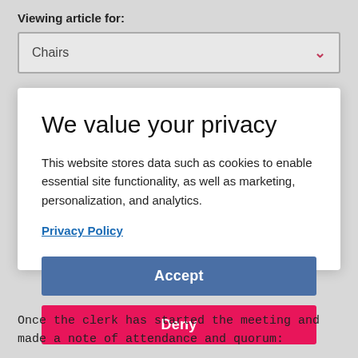Viewing article for:
Chairs
We value your privacy
This website stores data such as cookies to enable essential site functionality, as well as marketing, personalization, and analytics.
Privacy Policy
Accept
Deny
Once the clerk has started the meeting and made a note of attendance and quorum: